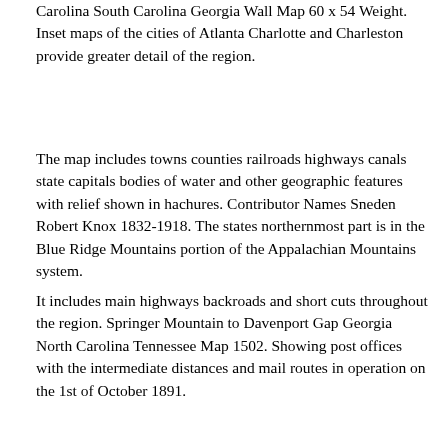Carolina South Carolina Georgia Wall Map 60 x 54 Weight. Inset maps of the cities of Atlanta Charlotte and Charleston provide greater detail of the region.
The map includes towns counties railroads highways canals state capitals bodies of water and other geographic features with relief shown in hachures. Contributor Names Sneden Robert Knox 1832-1918. The states northernmost part is in the Blue Ridge Mountains portion of the Appalachian Mountains system.
It includes main highways backroads and short cuts throughout the region. Springer Mountain to Davenport Gap Georgia North Carolina Tennessee Map 1502. Showing post offices with the intermediate distances and mail routes in operation on the 1st of October 1891.
Created Published 1861-1865 Subject Headings – Railroads–Confederate. Our North East Georgia map is detailed drawn to scale and easy to read. This map shows cities towns main roads and rivers in Tennessee and North Carolina.
Inset maps of the cities of Atlanta Charlotte and Charleston provide greater detail of the region. Published in September 1926 this map of North Carolina South Carolina Georgia and Eastern Tennessee